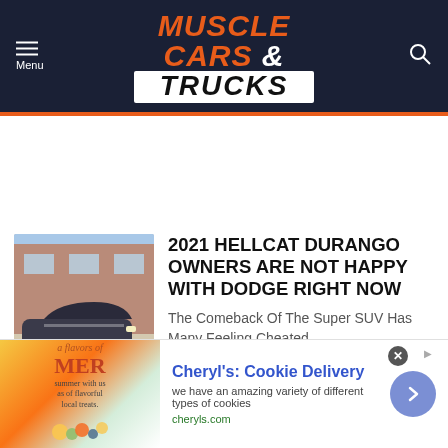Muscle Cars & Trucks — Menu / Search navigation header
[Figure (logo): Muscle Cars & Trucks logo — white and orange italic bold text on dark navy background]
[Figure (photo): 2021 Dodge Durango Hellcat SUV in dark color parked in front of a brick building]
2021 HELLCAT DURANGO OWNERS ARE NOT HAPPY WITH DODGE RIGHT NOW
The Comeback Of The Super SUV Has Many Feeling Cheated
[Figure (other): Advertisement banner — Cheryl's: Cookie Delivery. 'we have an amazing variety of different types of cookies' — cheryls.com]